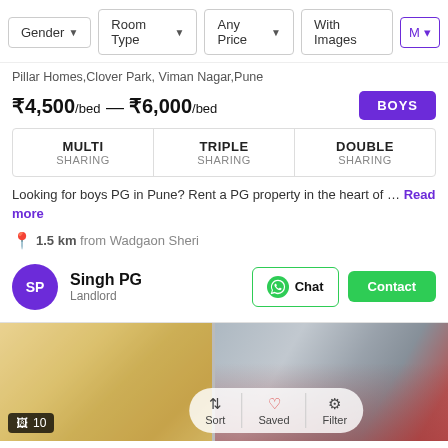Gender ▼  Room Type ▼  Any Price ▼  With Images  Me
Pillar Homes,Clover Park, Viman Nagar,Pune
₹4,500/bed — ₹6,000/bed  BOYS
| TYPE | SHARING |
| --- | --- |
| MULTI | SHARING |
| TRIPLE | SHARING |
| DOUBLE | SHARING |
Looking for boys PG in Pune? Rent a PG property in the heart of … Read more
1.5 km from Wadgaon Sheri
Singh PG
Landlord
[Figure (photo): Two blurred interior room photos of a PG property]
10